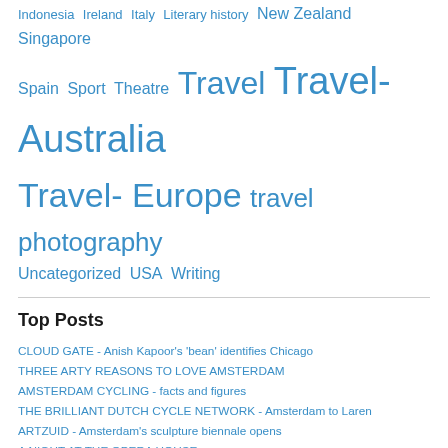Indonesia  Ireland  Italy  Literary history  New Zealand  Singapore  Spain  Sport  Theatre  Travel  Travel-Australia  Travel- Europe  travel photography  Uncategorized  USA  Writing
Top Posts
CLOUD GATE - Anish Kapoor's 'bean' identifies Chicago
THREE ARTY REASONS TO LOVE AMSTERDAM
AMSTERDAM CYCLING - facts and figures
THE BRILLIANT DUTCH CYCLE NETWORK - Amsterdam to Laren
ARTZUID - Amsterdam's sculpture biennale opens
A NIGHT AT THE OPERA HOUSE
CYCLING BY PROXY - other people's fun
ZANDVOORT BEACH - a ride by the ripples
BLUE MOUNTAINS PHOTO CONTEST - No, I didn't win, but...
DEVILS IN PARADISE